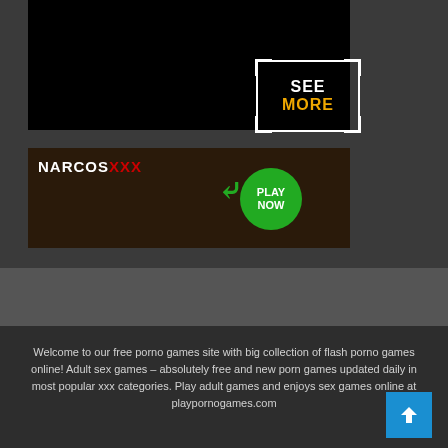[Figure (screenshot): Black video thumbnail with SEE MORE overlay in bracket frame, white text SEE and orange/gold text MORE]
[Figure (illustration): NarcosXXX adult game advertisement banner with PLAY NOW button]
[Figure (other): Gray advertisement zone placeholder]
Welcome to our free porno games site with big collection of flash porno games online! Adult sex games – absolutely free and new porn games updated daily in most popular xxx categories. Play adult games and enjoys sex games online at playpornogames.com